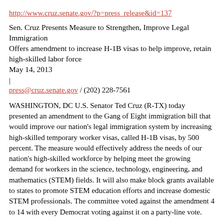http://www.cruz.senate.gov/?p=press_release&id=137
Sen. Cruz Presents Measure to Strengthen, Improve Legal Immigration
Offers amendment to increase H-1B visas to help improve, retain high-skilled labor force
May 14, 2013
|
press@cruz.senate.gov / (202) 228-7561
WASHINGTON, DC U.S. Senator Ted Cruz (R-TX) today presented an amendment to the Gang of Eight immigration bill that would improve our nation's legal immigration system by increasing high-skilled temporary worker visas, called H-1B visas, by 500 percent. The measure would effectively address the needs of our nation's high-skilled workforce by helping meet the growing demand for workers in the science, technology, engineering, and mathematics (STEM) fields. It will also make block grants available to states to promote STEM education efforts and increase domestic STEM professionals. The committee voted against the amendment 4 to 14 with every Democrat voting against it on a party-line vote.